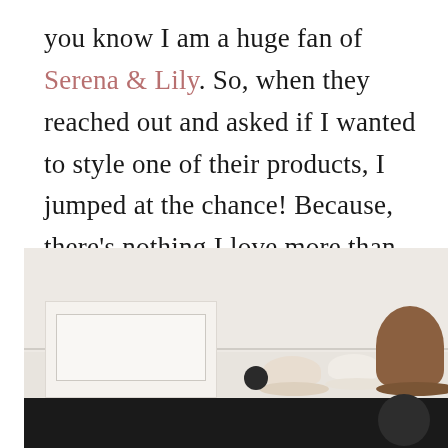you know I am a huge fan of Serena & Lily. So, when they reached out and asked if I wanted to style one of their products, I jumped at the chance! Because, there's nothing I love more than their quality furniture and timeless design.
[Figure (photo): Interior photo showing a white/cream bedroom wall with a dresser and hats hanging on hooks. A brown hat, cream hat, and white hat are visible. The bottom of the image is cut off by a dark/black bar.]